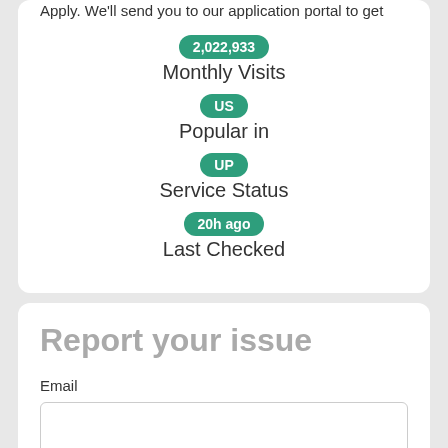Apply. We'll send you to our application portal to get
2,022,933
Monthly Visits
US
Popular in
UP
Service Status
20h ago
Last Checked
Report your issue
Email
Message